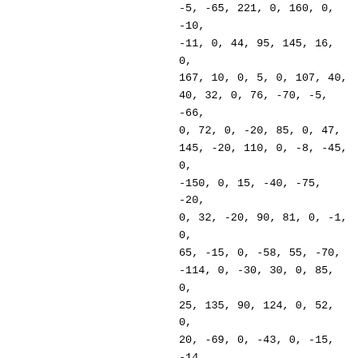-5, -65, 221, 0, 160, 0, -10, -11, 0, 44, 95, 145, 16, 0, 167, 10, 0, 5, 0, 107, 40, 40, 32, 0, 76, -70, -5, -66, 0, 72, 0, -20, 85, 0, 47, 145, -20, 110, 0, -8, -45, 0, -150, 0, 15, -40, -75, -20, 0, 32, -20, 90, 81, 0, -1, 0, 65, -15, 0, -58, 55, -70, -114, 0, -30, 30, 0, 85, 0, 25, 135, 90, 124, 0, 52, 0, 20, -69, 0, -43, 0, -15, -14, 0, 27, 50, -40, -16, 0, 27, -15, 0, -9, 0, -40, -30, 20, -300, 0, 34, -25, -130, 50, 0, 17, 0, 90, 170, 0, 122, -70, -50, -45, 0, 97, -15, 0, -136, 0, 164, 15, 145, 136, 0, -104, -35, -10, 21, 0, 122, 0, -45, -90, 0, 60, 0, 25, 30, 0, 30, -30, 0, 100